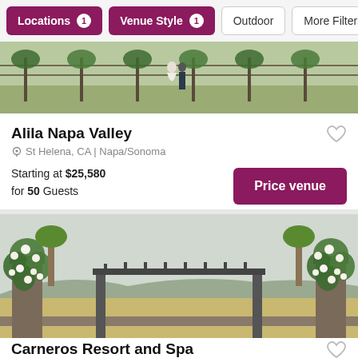Locations 1 | Venue Style 1 | Outdoor | More Filters
[Figure (photo): Outdoor vineyard wedding photo, couple standing among grapevines]
Alila Napa Valley
St Helena, CA | Napa/Sonoma
Starting at $25,580 for 50 Guests
[Figure (photo): Outdoor wedding ceremony pergola structure decorated with white flowers and greenery, overlooking vineyard and mountains]
Carneros Resort and Spa